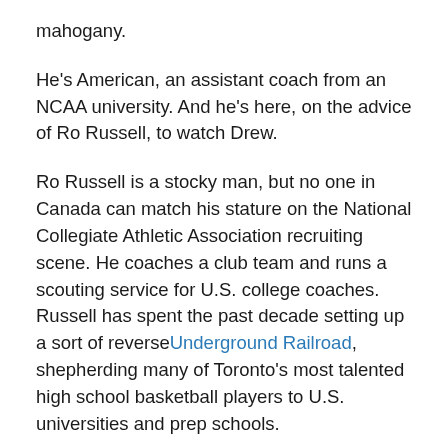mahogany.
He's American, an assistant coach from an NCAA university. And he's here, on the advice of Ro Russell, to watch Drew.
Ro Russell is a stocky man, but no one in Canada can match his stature on the National Collegiate Athletic Association recruiting scene. He coaches a club team and runs a scouting service for U.S. college coaches. Russell has spent the past decade setting up a sort of reverseUnderground Railroad, shepherding many of Toronto's most talented high school basketball players to U.S. universities and prep schools.
Drew's high school basketball coach, Don Marchione, doesn't even know Drew is here tonight – and doesn't know how Russell has positioned his star player will.